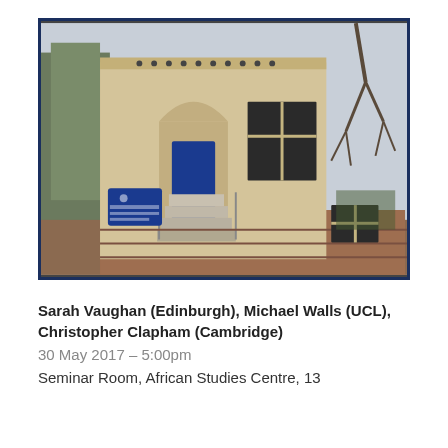[Figure (photo): Photograph of the African Studies Centre building in Cambridge — a two-storey stone building with a pointed Gothic arch doorway, stone steps leading to a dark blue door, and a blue sign reading 'African Studies Centre'. Bare winter trees visible on either side.]
Sarah Vaughan (Edinburgh), Michael Walls (UCL), Christopher Clapham (Cambridge)
30 May 2017 – 5:00pm
Seminar Room, African Studies Centre, 13